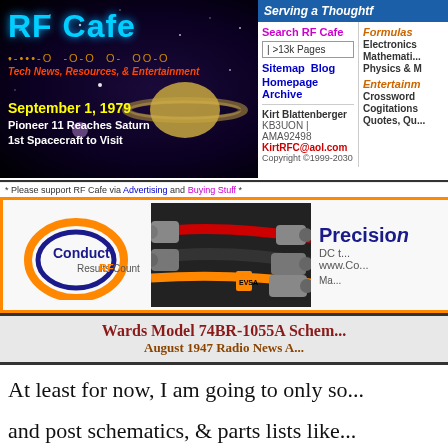[Figure (screenshot): RF Cafe website header with logo showing space/Saturn imagery, date September 1, 1979 Pioneer 11 Reaches Saturn]
Serving a Thoughtf...
Search RF Cafe | >13k Pages | Sitemap Blog | Homepage Archive
Formulas | Electronics | Mathematics | Physics & M...
Kirt Blattenberger | KB3UON | AMA92498 | KirtRFC@aol.com | Copyright ©1999-2030
Entertainm... | Crossword | Cogitations | Quotes, Qu...
* Please support RF Cafe via Advertising and Buying Stuff *
[Figure (screenshot): Conduct RF advertisement banner showing RF cables/connectors with text Precision, DC t..., www.Co..., Ma...]
Wards Model 74BR-1055A Schem...
August 1947 Radio News A...
At least for now, I am going to only so...
and post schematics, & parts lists like...